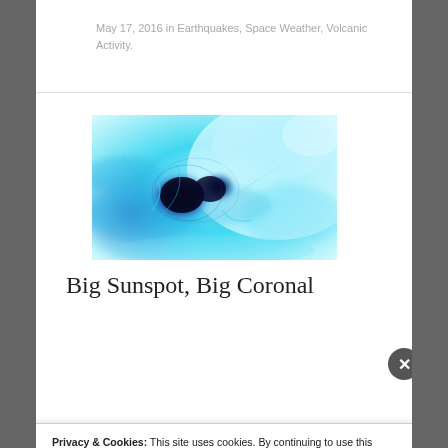May 17, 2016 in Earthquakes, Space Weather, Volcanic Activity.
[Figure (photo): Close-up false-color image of a large sunspot group on the sun's surface, showing blue and cyan hues with dark central regions.]
Big Sunspot, Big Coronal
Privacy & Cookies: This site uses cookies. By continuing to use this website, you agree to their use.
To find out more, including how to control cookies, see here: Cookie Policy
Close and accept